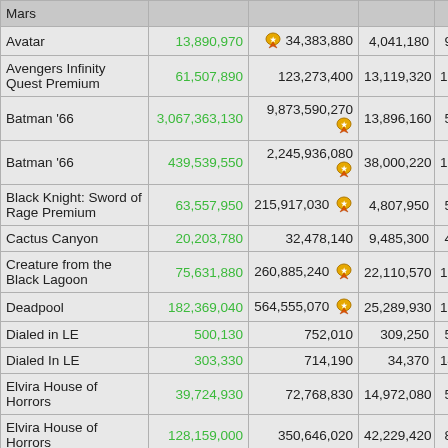| Name | Col2 | Col3 | Col4 | Col5 |
| --- | --- | --- | --- | --- |
| Mars |  |  |  |  |
| Avatar | 13,890,970 | 🏅 34,383,880 | 4,041,180 | 9 |
| Avengers Infinity Quest Premium | 61,507,890 | 123,273,400 | 13,119,320 | 11 |
| Batman '66 | 3,067,363,130 | 🏅 9,873,590,270 | 13,896,160 | 5 |
| Batman '66 | 439,539,550 | 🏅 2,245,936,080 | 38,000,220 | 17 |
| Black Knight: Sword of Rage Premium | 63,557,950 | 🏅 215,917,030 | 4,807,950 | 5 |
| Cactus Canyon | 20,203,780 | 32,478,140 | 9,485,300 | 4 |
| Creature from the Black Lagoon | 75,631,880 | 🏅 260,885,240 | 22,110,570 | 12 |
| Deadpool | 182,369,040 | 🏅 564,555,070 | 25,289,930 | 15 |
| Dialed in LE | 500,130 | 752,010 | 309,250 | 5 |
| Dialed In LE | 303,330 | 714,190 | 34,370 | 14 |
| Elvira House of Horrors | 39,724,930 | 72,768,830 | 14,972,080 | 5 |
| Elvira House of Horrors | 128,159,000 | 350,646,020 | 42,229,420 | 8 |
| F14 Tomcat | 1,544,150 | 3,459,840 | 149,500 | 18 |